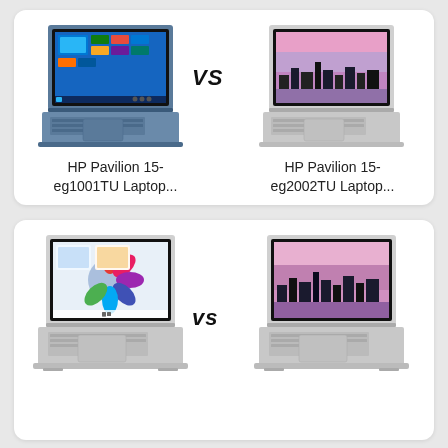[Figure (photo): HP Pavilion 15-eg1001TU Laptop with Windows 10 screen shown in blue/slate color]
vs
[Figure (photo): HP Pavilion 15-eg2002TU Laptop with city skyline wallpaper in silver color]
HP Pavilion 15-eg1001TU Laptop...
HP Pavilion 15-eg2002TU Laptop...
[Figure (photo): HP Pavilion laptop with Windows 11 screen in silver color]
vs
[Figure (photo): HP Pavilion laptop with city skyline wallpaper in silver color]